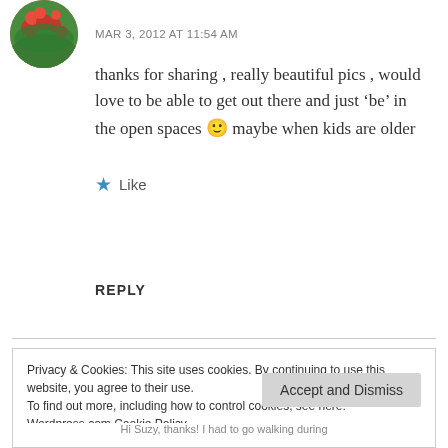[Figure (photo): Circular avatar photo showing flowers (pink/red blooms) with green foliage background]
MAR 3, 2012 AT 11:54 AM
thanks for sharing , really beautiful pics , would love to be able to get out there and just ‘be’ in the open spaces 🙂 maybe when kids are older
Like
REPLY
Privacy & Cookies: This site uses cookies. By continuing to use this website, you agree to their use.
To find out more, including how to control cookies, see here:
Wordpress.com Cookie Policy
Accept and Dismiss
Hi Suzy, thanks! I had to go walking during